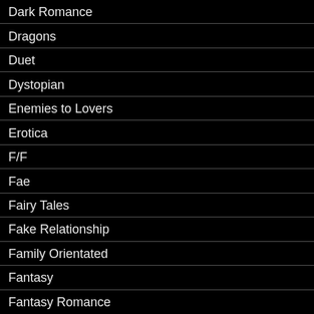Dark Romance
Dragons
Duet
Dystopian
Enemies to Lovers
Erotica
F/F
Fae
Fairy Tales
Fake Relationship
Family Orientated
Fantasy
Fantasy Romance